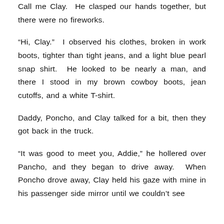Call me Clay.  He clasped our hands together, but there were no fireworks.
“Hi, Clay.”  I observed his clothes, broken in work boots, tighter than tight jeans, and a light blue pearl snap shirt.  He looked to be nearly a man, and there I stood in my brown cowboy boots, jean cutoffs, and a white T-shirt.
Daddy, Poncho, and Clay talked for a bit, then they got back in the truck.
“It was good to meet you, Addie,” he hollered over Pancho, and they began to drive away.  When Poncho drove away, Clay held his gaze with mine in his passenger side mirror until we couldn’t see